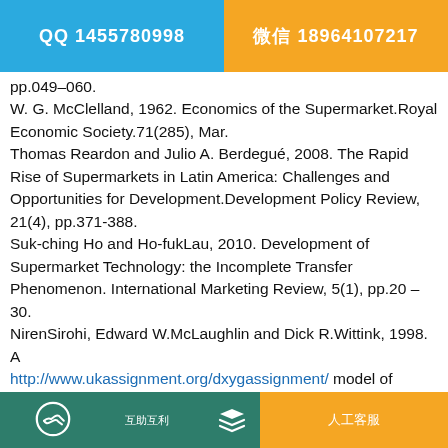QQ 1455780998 | 微信 18964107217
pp.049–060.
W. G. McClelland, 1962. Economics of the Supermarket.Royal Economic Society.71(285), Mar.
Thomas Reardon and Julio A. Berdegué, 2008. The Rapid Rise of Supermarkets in Latin America: Challenges and Opportunities for Development.Development Policy Review, 21(4), pp.371-388.
Suk-ching Ho and Ho-fukLau, 2010. Development of Supermarket Technology: the Incomplete Transfer Phenomenon. International Marketing Review, 5(1), pp.20 – 30.
NirenSirohi, Edward W.McLaughlin and Dick R.Wittink, 1998. A http://www.ukassignment.org/dxygassignment/ model of
❤🤝 互助互利  [stack icon]  人工客服